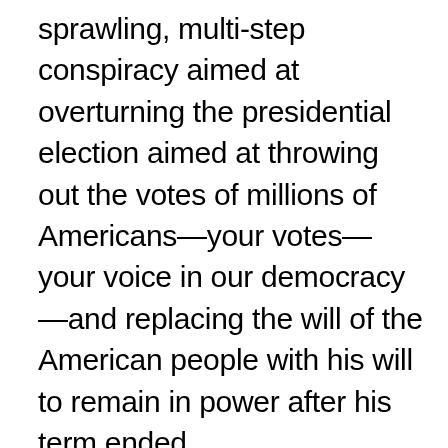sprawling, multi-step conspiracy aimed at overturning the presidential election aimed at throwing out the votes of millions of Americans—your votes—your voice in our democracy—and replacing the will of the American people with his will to remain in power after his term ended.